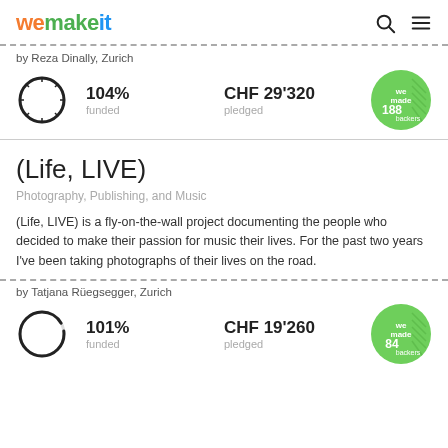wemakeit
by Reza Dinally, Zurich
104% funded   CHF 29'320 pledged   188 backers
(Life, LIVE)
Photography, Publishing, and Music
(Life, LIVE) is a fly-on-the-wall project documenting the people who decided to make their passion for music their lives. For the past two years I've been taking photographs of their lives on the road.
by Tatjana Rüegsegger, Zurich
101% funded   CHF 19'260 pledged   84 backers